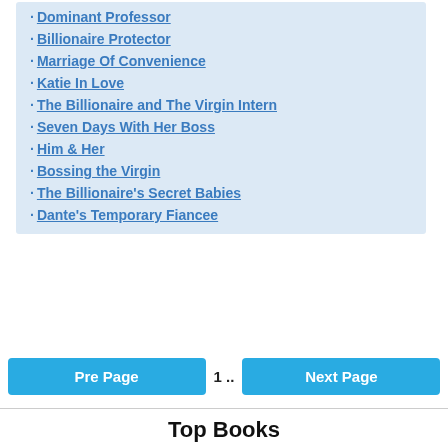· Dominant Professor
· Billionaire Protector
· Marriage Of Convenience
· Katie In Love
· The Billionaire and The Virgin Intern
· Seven Days With Her Boss
· Him & Her
· Bossing the Virgin
· The Billionaire's Secret Babies
· Dante's Temporary Fiancee
Pre Page  1 ..  Next Page
Top Books